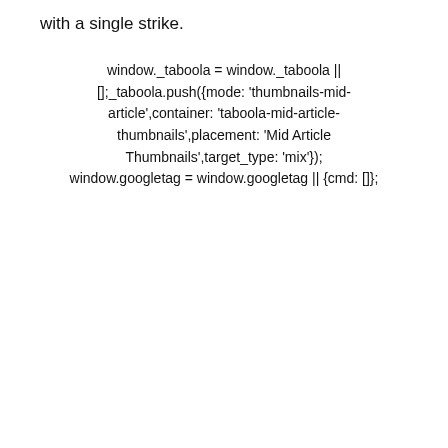with a single strike.
window._taboola = window._taboola || [];_taboola.push({mode: 'thumbnails-mid-article',container: 'taboola-mid-article-thumbnails',placement: 'Mid Article Thumbnails',target_type: 'mix'}); window.googletag = window.googletag || {cmd: []};<!--
googletag.cmd.push(function () { var mapping2 = googletag.sizeMapping() .addSize([1024, 0], [[728, 90], [300, 250], [1, 1]]) .addSize([378, 0], [[300, 250], [1, 1]]) .addSize([0, 0], [[300, 250], [320, 50], [1, 1]]) .build(); googletag.defineSlot('/22452467327/zenger/inarticle1', [[728, 90], [300,250], [1,1]], 'div-gpt-ad-1767121- defineSizeMapping(mapping2).setTargeting('pos'
[Figure (other): BizRecycling advertisement banner: Get up to $50k in grant dollars for your business.]